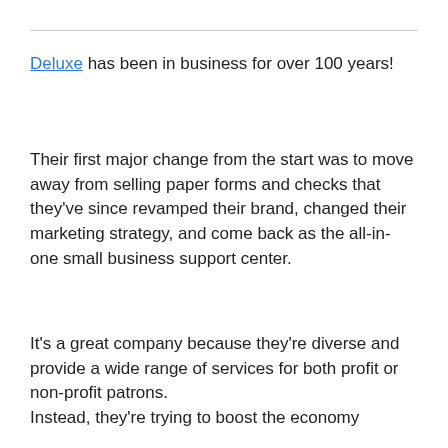Deluxe has been in business for over 100 years!
Their first major change from the start was to move away from selling paper forms and checks that they've since revamped their brand, changed their marketing strategy, and come back as the all-in-one small business support center.
It's a great company because they're diverse and provide a wide range of services for both profit or non-profit patrons.
Instead, they're trying to boost the economy